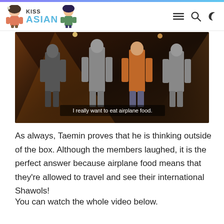KISS ASIAN
[Figure (screenshot): Video screenshot showing people standing on a stage with colorful lights, with subtitle text 'I really want to eat airplane food.']
As always, Taemin proves that he is thinking outside of the box. Although the members laughed, it is the perfect answer because airplane food means that they're allowed to travel and see their international Shawols!
You can watch the whole video below.